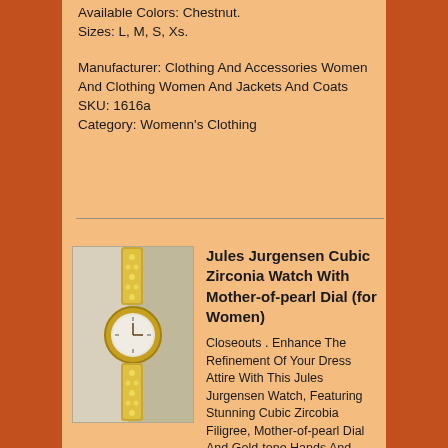Available Colors: Chestnut. Sizes: L, M, S, Xs.
Manufacturer: Clothing And Accessories Women And Clothing Women And Jackets And Coats
SKU: 1616a
Category: Womenn's Clothing
[Figure (photo): Photo of a Jules Jurgensen ladies watch with cubic zirconia filigree band and mother-of-pearl dial, displayed on a draped fabric background]
Jules Jurgensen Cubic Zirconia Watch With Mother-of-pearl Dial (for Women)
Closeouts . Enhance The Refinement Of Your Dress Attire With This Jules Jurgensen Watch, Featuring Stunning Cubic Zircobia Filigree, Mother-of-pearl Dial And Gold-tone Hands And Markers. Gold-tone Metal Case Stainlese Steel Case Back 7222 Band With Clasp